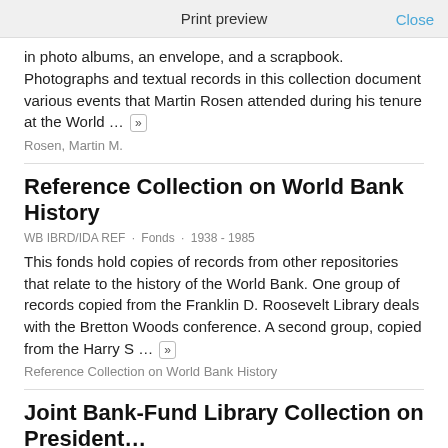Print preview
in photo albums, an envelope, and a scrapbook. Photographs and textual records in this collection document various events that Martin Rosen attended during his tenure at the World ...
Rosen, Martin M.
Reference Collection on World Bank History
WB IBRD/IDA REF · Fonds · 1938 - 1985
This fonds hold copies of records from other repositories that relate to the history of the World Bank. One group of records copied from the Franklin D. Roosevelt Library deals with the Bretton Woods conference. A second group, copied from the Harry S ...
Reference Collection on World Bank History
Joint Bank-Fund Library Collection on President…
WB IBRD/IDA PRES · Fonds · 1946 - 1987
Clippings, speeches, press releases, biographical information, and occasional copies of letters and memoranda by and about Bank Presidents, Eugene Meyer, dated to McCloy, George D. Woods, Robert S.